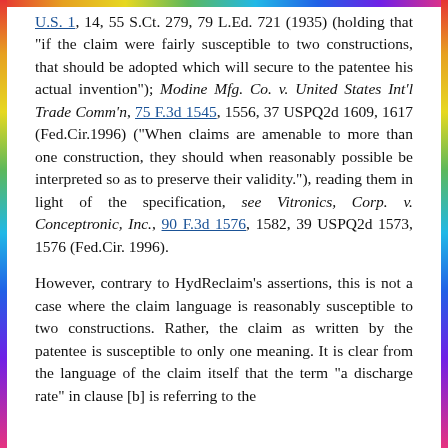U.S. 1, 14, 55 S.Ct. 279, 79 L.Ed. 721 (1935) (holding that "if the claim were fairly susceptible to two constructions, that should be adopted which will secure to the patentee his actual invention"); Modine Mfg. Co. v. United States Int'l Trade Comm'n, 75 F.3d 1545, 1556, 37 USPQ2d 1609, 1617 (Fed.Cir.1996) ("When claims are amenable to more than one construction, they should when reasonably possible be interpreted so as to preserve their validity."), reading them in light of the specification, see Vitronics, Corp. v. Conceptronic, Inc., 90 F.3d 1576, 1582, 39 USPQ2d 1573, 1576 (Fed.Cir. 1996).
However, contrary to HydReclaim's assertions, this is not a case where the claim language is reasonably susceptible to two constructions. Rather, the claim as written by the patentee is susceptible to only one meaning. It is clear from the language of the claim itself that the term "a discharge rate" in clause [b] is referring to the